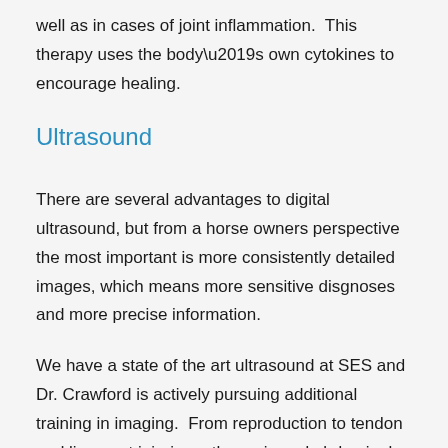well as in cases of joint inflammation.  This therapy uses the body’s own cytokines to encourage healing.
Ultrasound
There are several advantages to digital ultrasound, but from a horse owners perspective the most important is more consistently detailed images, which means more sensitive disgnoses and more precise information.
We have a state of the art ultrasound at SES and Dr. Crawford is actively pursuing additional training in imaging.  From reproduction to tendon and ligament injuries orthopneis and abdominal